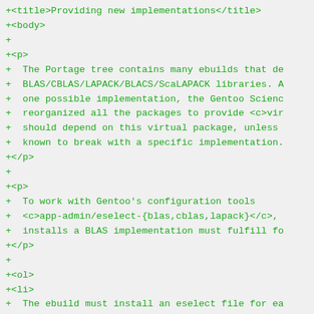+<title>Providing new implementations</title>
+<body>
+
+<p>
+  The Portage tree contains many ebuilds that de
+  BLAS/CBLAS/LAPACK/BLACS/ScaLAPACK libraries. A
+  one possible implementation, the Gentoo Scienc
+  reorganized all the packages to provide <c>vir
+  should depend on this virtual package, unless
+  known to break with a specific implementation.
+</p>
+
+<p>
+  To work with Gentoo's configuration tools
+  <c>app-admin/eselect-{blas,cblas,lapack}</c>,
+  installs a BLAS implementation must fulfill fo
+</p>
+
+<ol>
+<li>
+  The ebuild must install an eselect file for ea
+  libraries should link to the ones in /math/us